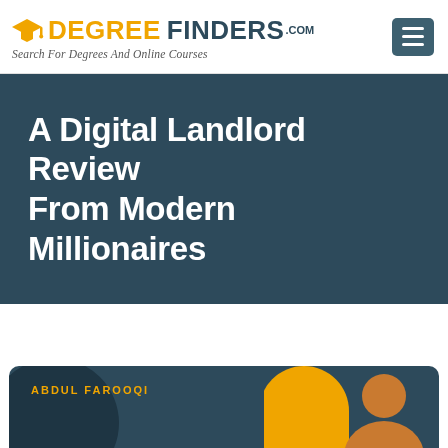DEGREE FINDERS.com — Search For Degrees And Online Courses
A Digital Landlord Review From Modern Millionaires
ABDUL FAROOQI